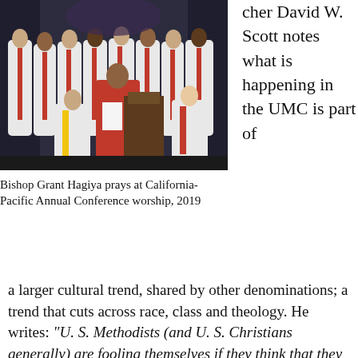[Figure (photo): Group of clergy in white and red robes standing and seated in a church setting, with one person in red robes at a podium reading.]
Bishop Grant Hagiya prays at California-Pacific Annual Conference worship, 2019
cher David W. Scott notes what is happening in the UMC is part of
a larger cultural trend, shared by other denominations; a trend that cuts across race, class and theology. He writes: "U. S. Methodists (and U. S. Christians generally) are fooling themselves if they think that they can solve a cultural problem with